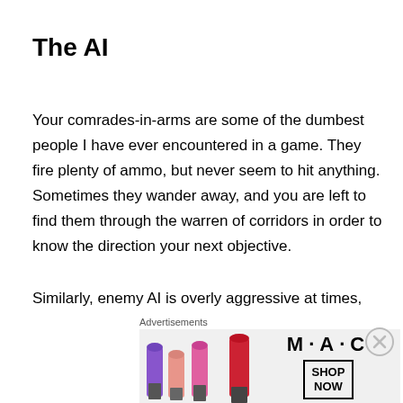The AI
Your comrades-in-arms are some of the dumbest people I have ever encountered in a game. They fire plenty of ammo, but never seem to hit anything. Sometimes they wander away, and you are left to find them through the warren of corridors in order to know the direction your next objective.
Similarly, enemy AI is overly aggressive at times, with dozens of Xenomorphs coming at you at once. At a distance, they aren't so bad but with the poor melee
Advertisements
[Figure (photo): MAC cosmetics advertisement banner showing lipsticks in purple, pink, and red colors with MAC logo and SHOP NOW button]